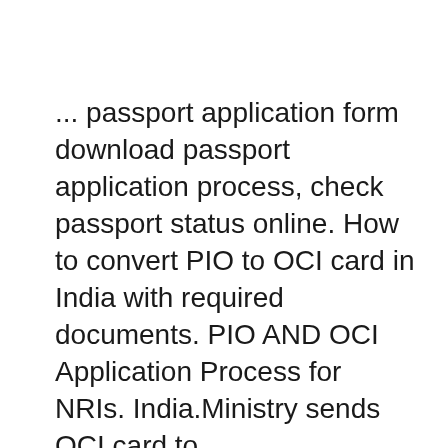... passport application form download passport application process, check passport status online. How to convert PIO to OCI card in India with required documents. PIO AND OCI Application Process for NRIs. India.Ministry sends OCI card to embassy/consulate.Applicant deposit passport to get Hum Fauji Initiatives 2nd
Documents required to apply for Overseas Citizen of India OCI. Those who are claiming OCI card on the basis of parent Documents required with OCI application 1. Documents required to apply for Overseas Citizen of India OCI.